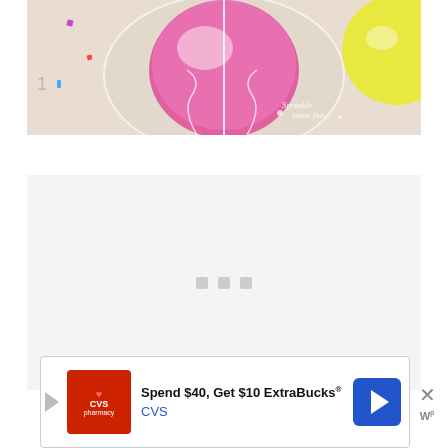[Figure (photo): Close-up photo of colorful balloons including a pink balloon inside a clear balloon, with confetti and ribbons. A watermark reads 'Sprinkle Some Fun' in the lower right corner.]
[Figure (screenshot): Loading placeholder area with three small gray square dots centered in a light gray box, indicating content is loading.]
[Figure (infographic): Advertisement banner: CVS Pharmacy ad reading 'Spend $40, Get $10 ExtraBucks® CVS' with CVS logo on left and a blue navigation arrow icon on the right. A close button (X) is shown to the right of the banner along with a 'W' powered-by icon.]